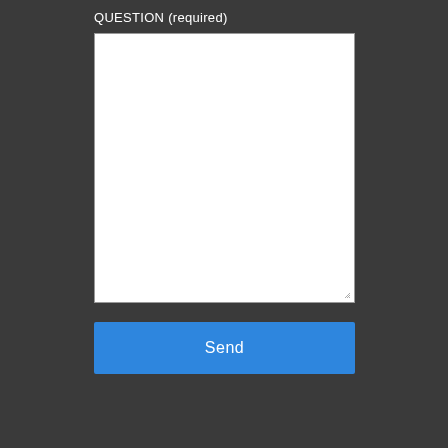QUESTION (required)
[Figure (screenshot): A white empty textarea input field with a resize handle in the bottom-right corner]
Send